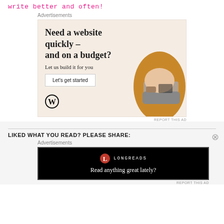write better and often!
Advertisements
[Figure (illustration): WordPress advertisement: 'Need a website quickly – and on a budget? Let us build it for you' with a 'Let's get started' button, WordPress logo, and circular photo of person typing on laptop]
REPORT THIS AD
LIKED WHAT YOU READ? PLEASE SHARE:
Advertisements
[Figure (screenshot): Longreads advertisement on black background: Longreads logo and text 'Read anything great lately?']
REPORT THIS AD